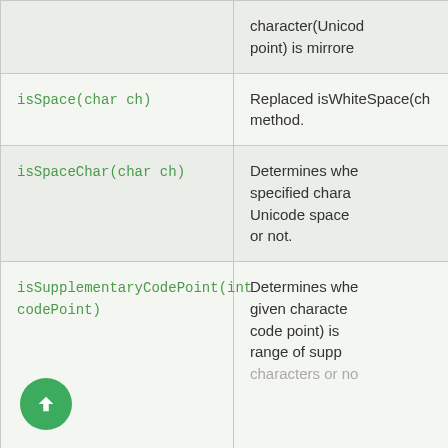| Method | Description |
| --- | --- |
|  | character(Unicode point) is mirrored |
| isSpace(char ch) | Replaced isWhiteSpace(ch) method. |
| isSpaceChar(char ch) | Determines whether the specified character is a Unicode space or not. |
| isSupplementaryCodePoint(int codePoint) | Determines whether the given character (code point) is in the range of supplementary characters or not. |